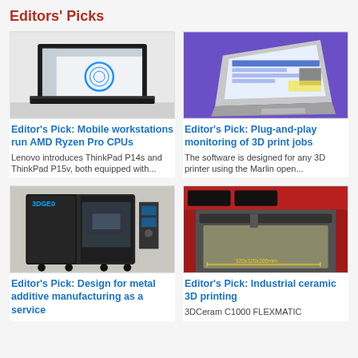Editors' Picks
[Figure (photo): Laptop computer showing CAD software with a circular design on the screen]
[Figure (photo): MacBook laptop on a purple background showing 3D print monitoring software]
Editor's Pick: Mobile workstations run AMD Ryzen Pro CPUs
Editor's Pick: Plug-and-play monitoring of 3D print jobs
Lenovo introduces ThinkPad P14s and ThinkPad P15v, both equipped with...
The software is designed for any 3D printer using the Marlin open...
[Figure (photo): 3DGeo industrial 3D printer machine with open door]
[Figure (photo): Industrial ceramic 3D printing machine with red frame showing build volume 320x320x200mm]
Editor's Pick: Design for metal additive manufacturing as a service
Editor's Pick: Industrial ceramic 3D printing
3DCeram C1000 FLEXMATIC